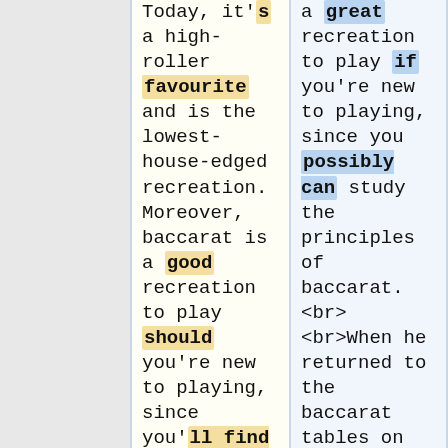Today, it's a high-roller favourite and is the lowest-house-edged recreation. Moreover, baccarat is a good recreation to play should you're new to playing, since you'll find a way to study the principles of baccarat.
a great recreation to play if you're new to playing, since you possibly can study the principles of baccarat. <br> <br>When he returned to the baccarat tables on the Trump Plaza Casino in Atlantic City,